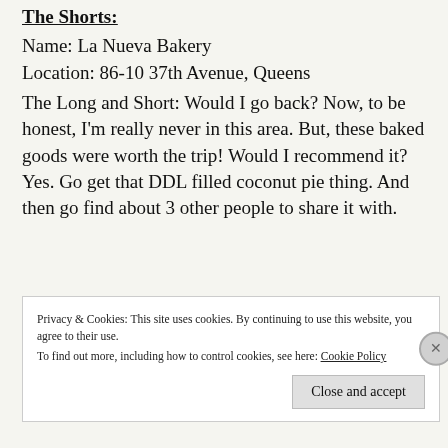The Shorts:
Name: La Nueva Bakery
Location: 86-10 37th Avenue, Queens
The Long and Short: Would I go back? Now, to be honest, I'm really never in this area. But, these baked goods were worth the trip! Would I recommend it? Yes. Go get that DDL filled coconut pie thing. And then go find about 3 other people to share it with.
Privacy & Cookies: This site uses cookies. By continuing to use this website, you agree to their use.
To find out more, including how to control cookies, see here: Cookie Policy
Close and accept